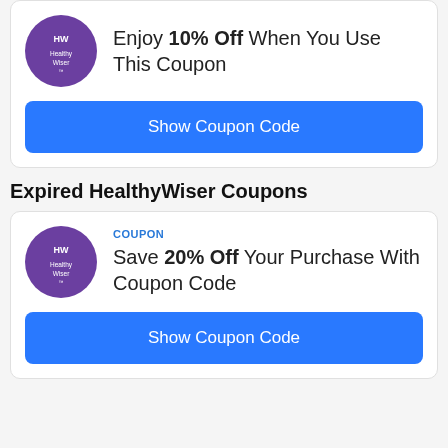Enjoy 10% Off When You Use This Coupon
Show Coupon Code
Expired HealthyWiser Coupons
COUPON
Save 20% Off Your Purchase With Coupon Code
Show Coupon Code